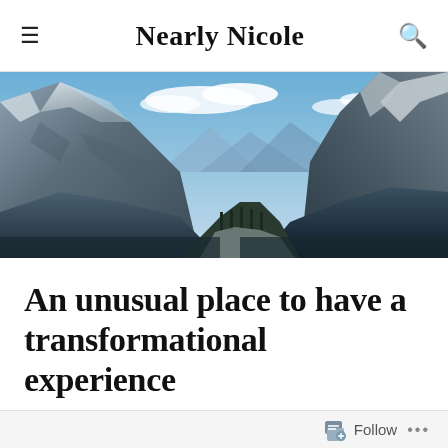Nearly Nicole
[Figure (photo): Panoramic mountain landscape with snow-covered peaks, blue sky with clouds, and a valley with evergreen trees below.]
An unusual place to have a transformational experience
ON JANUARY 4, 2017 / BY NICOLE GLAROS